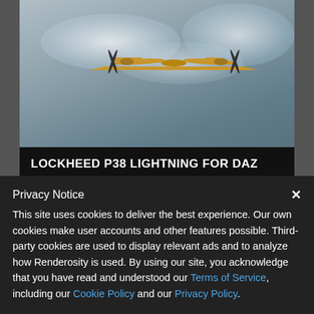[Figure (photo): Lockheed P38 Lightning aircraft in flight against cloudy sky background]
LOCKHEED P38 LIGHTNING FOR DAZ
June 12, 2021
By: 3DClassics123456
[Figure (photo): Partial view of a second product card showing a dark background with a reddish donut/torus 3D object]
Privacy Notice
This site uses cookies to deliver the best experience. Our own cookies make user accounts and other features possible. Third-party cookies are used to display relevant ads and to analyze how Renderosity is used. By using our site, you acknowledge that you have read and understood our Terms of Service, including our Cookie Policy and our Privacy Policy.